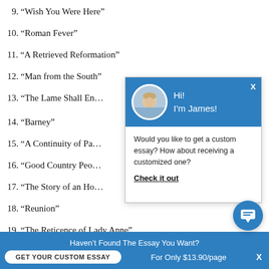9. “Wish You Were Here”
10. “Roman Fever”
11. “A Retrieved Reformation”
12. “Man from the South”
13. “The Lame Shall En…”
14. “Barney”
15. “A Continuity of Pa…”
16. “Good Country Peo…”
17. “The Story of an Ho…”
18. “Reunion”
19. “The Reticence of Lady Anne”
[Figure (screenshot): Chat popup overlay with James avatar, greeting 'Hi! I'm James!', and message 'Would you like to get a custom essay? How about receiving a customized one? Check it out']
Haven't Found The Essay You Want?
GET YOUR CUSTOM ESSAY   For Only $13.90/page   X